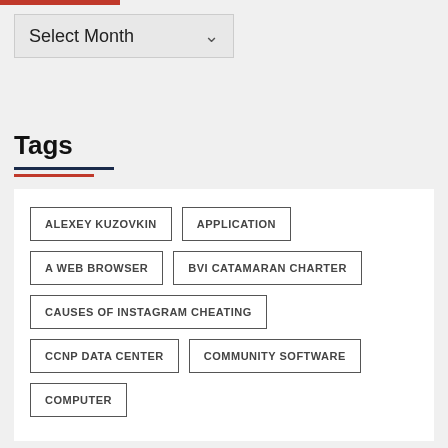Select Month
Tags
ALEXEY KUZOVKIN
APPLICATION
A WEB BROWSER
BVI CATAMARAN CHARTER
CAUSES OF INSTAGRAM CHEATING
CCNP DATA CENTER
COMMUNITY SOFTWARE
COMPUTER